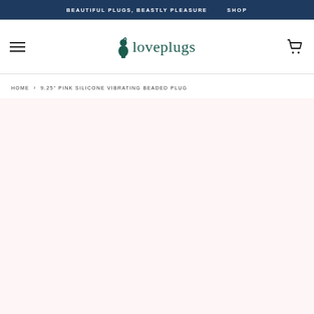BEAUTIFUL PLUGS, BEASTLY PLEASURE   SHOP
[Figure (logo): iloveplugs logo with stylized plug icon in teal and serif wordmark]
HOME › 9.25" PINK SILICONE VIBRATING BEADED PLUG